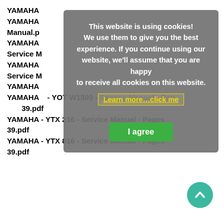YAMAHA
YAMAHA
Manual.p
YAMAHA
Service M
YAMAHA
Service M
YAMAHA
YAMAHA - YOT W1500 - Service Manual - Page 39.pdf
YAMAHA - YTX 216 - Service Manual - Pages 39.pdf
YAMAHA - YTX 816 - Service Manual - Pages 39.pdf
[Figure (screenshot): Cookie consent overlay dialog with grey background. Text reads: 'This website is using cookies! We use them to give you the best experience. If you continue using our website, we'll assume that you are happy to receive all cookies on this website.' with a yellow underlined link 'Learn more...click me' and a green 'I agree' button.]